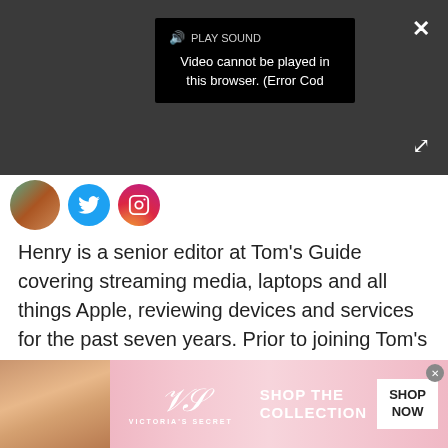[Figure (screenshot): Video player overlay on dark gray background showing a black tooltip with speaker/play sound icon and text 'Video cannot be played in this browser. (Error Cod', with a close X button top right and expand arrows bottom right.]
[Figure (photo): Circular avatar photo of a person, with Twitter (blue circle) and Instagram (gradient circle) social media icon buttons beside it.]
Henry is a senior editor at Tom's Guide covering streaming media, laptops and all things Apple, reviewing devices and services for the past seven years. Prior to joining Tom's Guide, he reviewed software and hardware for TechRadar Pro, and interviewed artists for Patek Philippe International Magazine. He's also covered the wild world of professional wrestling for Cageside
[Figure (photo): Victoria's Secret advertisement banner with a woman's photo on left, VS logo and 'Victoria's Secret' text in center, 'SHOP THE COLLECTION' text, and a 'SHOP NOW' white button on the right.]